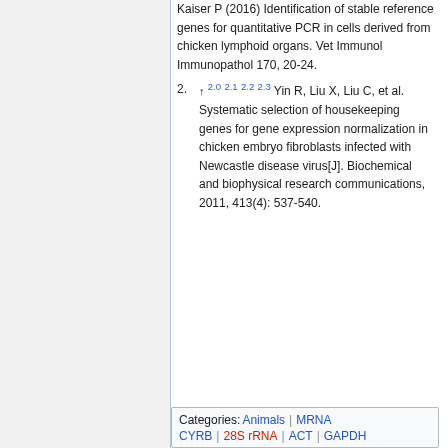Kaiser P (2016) Identification of stable reference genes for quantitative PCR in cells derived from chicken lymphoid organs. Vet Immunol Immunopathol 170, 20-24.
↑ 2.0 2.1 2.2 2.3 Yin R, Liu X, Liu C, et al. Systematic selection of housekeeping genes for gene expression normalization in chicken embryo fibroblasts infected with Newcastle disease virus[J]. Biochemical and biophysical research communications, 2011, 413(4): 537-540.
Categories: Animals | mRNA | CYRB | 28S rRNA | ACT | GAPDH